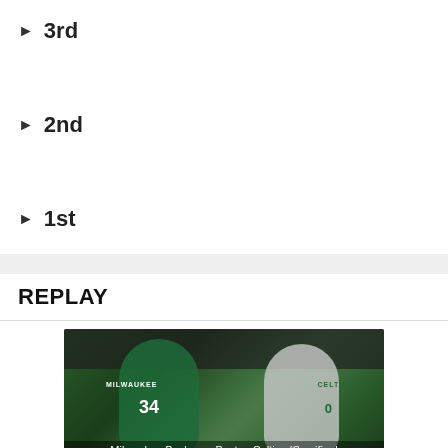▶ 3rd
▶ 2nd
▶ 1st
REPLAY
[Figure (photo): Milwaukee Bucks player #34 (Giannis Antetokounmpo) in green jersey and Boston Celtics player #0 (Jayson Tatum) standing on court with crowd in background. Caption reads: Milwaukee Bucks vs. Boston Celtics (Semifinal]